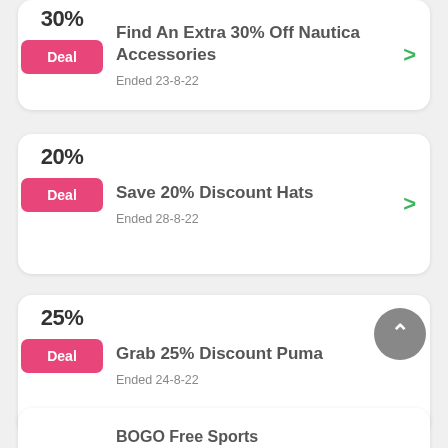30% Deal | Find An Extra 30% Off Nautica Accessories | Ended 23-8-22
20% Deal | Save 20% Discount Hats | Ended 28-8-22
25% Deal | Grab 25% Discount Puma | Ended 24-8-22
BOGO Free Sports (partial)